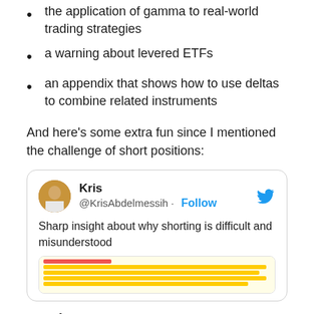the application of gamma to real-world trading strategies
a warning about levered ETFs
an appendix that shows how to use deltas to combine related instruments
And here’s some extra fun since I mentioned the challenge of short positions:
[Figure (screenshot): Embedded tweet card from @KrisAbdelmessih with the text 'Sharp insight about why shorting is difficult and misunderstood', with a highlighted article image preview below.]
Bonds